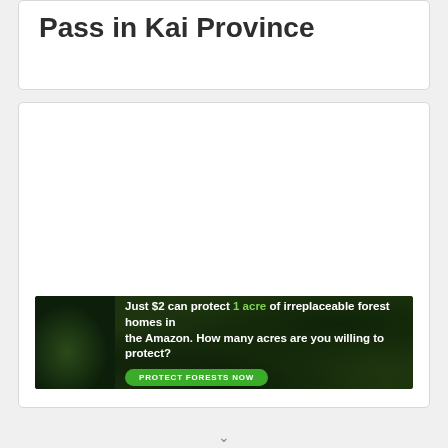Pass in Kai Province
[Figure (other): White empty card area, likely placeholder for embedded content or map]
[Figure (other): Advertisement banner: 'Just $2 can protect 1 acre of irreplaceable forest homes in the Amazon. How many acres are you willing to protect?' with a green 'PROTECT FORESTS NOW' button and imagery of a forest animal]